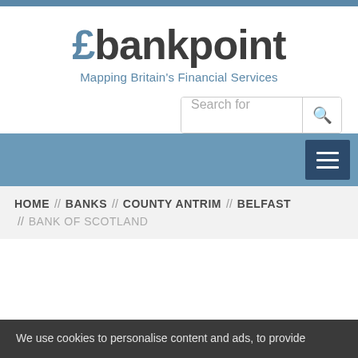£bankpoint — Mapping Britain's Financial Services
[Figure (logo): £bankpoint logo with pound sign in blue and text in dark grey, tagline: Mapping Britain's Financial Services]
Search for
HOME // BANKS // COUNTY ANTRIM // BELFAST // BANK OF SCOTLAND
We use cookies to personalise content and ads, to provide